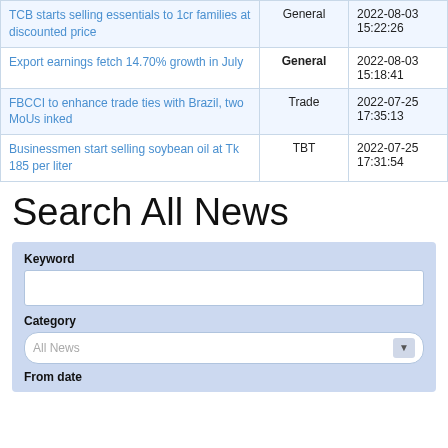| Title | Category | Date |
| --- | --- | --- |
| TCB starts selling essentials to 1cr families at discounted price | General | 2022-08-03 15:22:26 |
| Export earnings fetch 14.70% growth in July | General | 2022-08-03 15:18:41 |
| FBCCI to enhance trade ties with Brazil, two MoUs inked | Trade | 2022-07-25 17:35:13 |
| Businessmen start selling soybean oil at Tk 185 per liter | TBT | 2022-07-25 17:31:54 |
Search All News
Keyword
Category
All News
From date